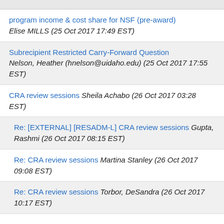program income & cost share for NSF (pre-award) Elise MILLS (25 Oct 2017 17:49 EST)
Subrecipient Restricted Carry-Forward Question Nelson, Heather (hnelson@uidaho.edu) (25 Oct 2017 17:55 EST)
CRA review sessions Sheila Achabo (26 Oct 2017 03:28 EST)
Re: [EXTERNAL] [RESADM-L] CRA review sessions Gupta, Rashmi (26 Oct 2017 08:15 EST)
Re: CRA review sessions Martina Stanley (26 Oct 2017 09:08 EST)
Re: CRA review sessions Torbor, DeSandra (26 Oct 2017 10:17 EST)